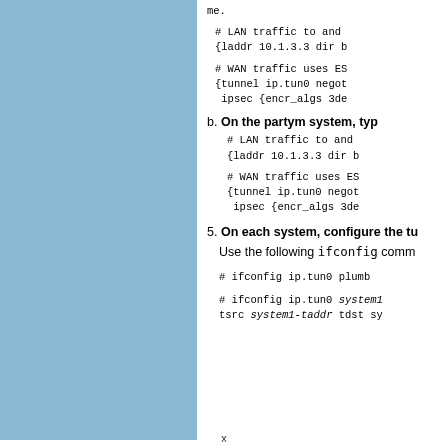me.
# LAN traffic to and
{laddr 10.1.3.3 dir b
# WAN traffic uses ES
{tunnel ip.tun0 negot
 ipsec {encr_algs 3de
b. On the partym system, typ
# LAN traffic to and
{laddr 10.1.3.3 dir b
# WAN traffic uses ES
{tunnel ip.tun0 negot
 ipsec {encr_algs 3de
5. On each system, configure the tu
Use the following ifconfig comm
# ifconfig ip.tun0 plumb
# ifconfig ip.tun0 system1
tsrc system1-taddr tdst sy
x